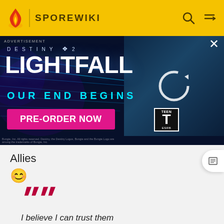SPOREWIKI
[Figure (screenshot): Advertisement banner for Destiny 2: Lightfall. Text reads: DESTINY 2 LIGHTFALL, OUR END BEGINS, PRE-ORDER NOW. Character image loading with reload icon. TEEN ESRB rating shown. Advertisement label top-left, X close button top-right.]
Allies
[Figure (illustration): Smiley face emoji (😊) in blue]
[Figure (illustration): Large pink/crimson quotation mark decorative element]
I believe I can trust them
Ramashe – Long live the Empress!
Disliked